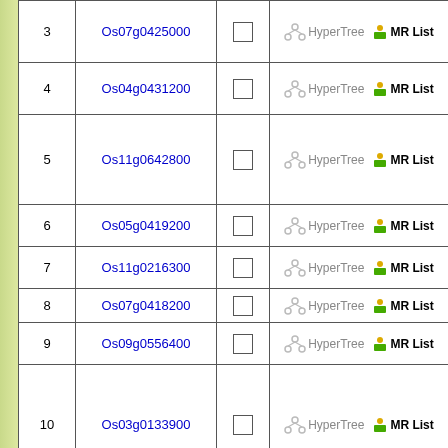| # | Gene ID |  | Links | Description |
| --- | --- | --- | --- | --- |
| 3 | Os07g0425000 | ☐ | HyperTree  MR List | Bio... in B |
| 4 | Os04g0431200 | ☐ | HyperTree  MR List | Cyc inin |
| 5 | Os11g0642800 | ☐ | HyperTree  MR List | Sim e. |
| 6 | Os05g0419200 | ☐ | HyperTree  MR List | Prot UF6 |
| 7 | Os11g0216300 | ☐ | HyperTree  MR List | AB( in. |
| 8 | Os07g0418200 | ☐ | HyperTree  MR List | Con |
| 9 | Os09g0556400 | ☐ | HyperTree  MR List | Maj FS_ |
| 10 | Os03g0133900 | ☐ | HyperTree  MR List | Sim se ( |
|  |  | ☐ |  | Pho |